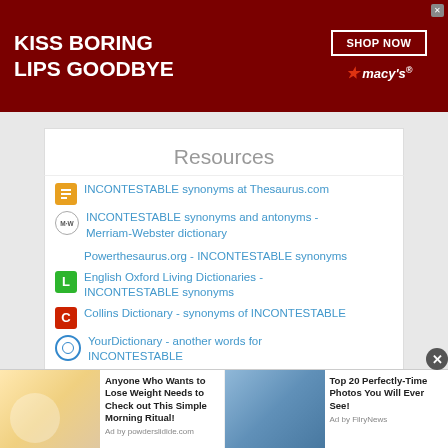[Figure (screenshot): Macy's advertisement banner: 'KISS BORING LIPS GOODBYE' with SHOP NOW button and Macy's logo on dark red background with woman's face]
Resources
INCONTESTABLE synonyms at Thesaurus.com
INCONTESTABLE synonyms and antonyms - Merriam-Webster dictionary
Powerthesaurus.org - INCONTESTABLE synonyms
English Oxford Living Dictionaries - INCONTESTABLE synonyms
Collins Dictionary - synonyms of INCONTESTABLE
YourDictionary - another words for INCONTESTABLE
[Figure (screenshot): Bottom advertisement strip with two ads: 'Anyone Who Wants to Lose Weight Needs to Check out This Simple Morning Ritual!' and 'Top 20 Perfectly-Time Photos You Will Ever See!']